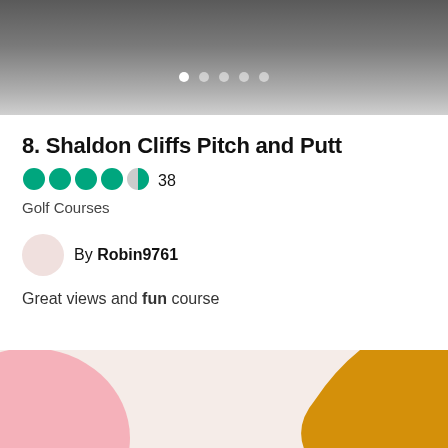[Figure (photo): Top image carousel bar (darkened photo) with 5 navigation dots, first dot active]
8. Shaldon Cliffs Pitch and Putt
38 (rating count)
Golf Courses
By Robin9761
Great views and fun course
[Figure (illustration): Decorative abstract background with cream base, pink blob bottom-left, and mustard/gold wavy shape on the right]